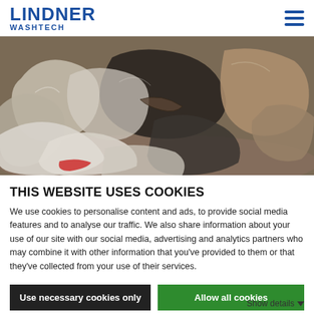LINDNER WASHTECH
[Figure (photo): Pile of dirty waste plastic bags and sheets, various shades of brown, grey, black and white, heavily contaminated with soil and debris.]
THIS WEBSITE USES COOKIES
We use cookies to personalise content and ads, to provide social media features and to analyse our traffic. We also share information about your use of our site with our social media, advertising and analytics partners who may combine it with other information that you've provided to them or that they've collected from your use of their services.
Use necessary cookies only
Allow all cookies
Show details